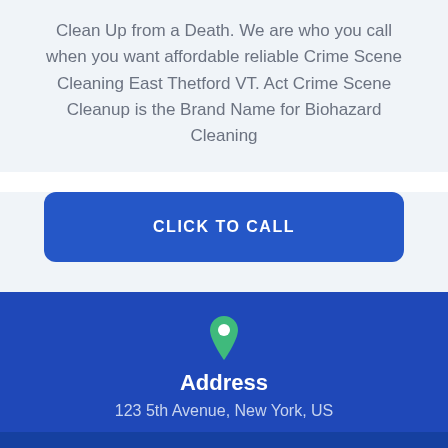Clean Up from a Death. We are who you call when you want affordable reliable Crime Scene Cleaning East Thetford VT. Act Crime Scene Cleanup is the Brand Name for Biohazard Cleaning
CLICK TO CALL
Address
123 5th Avenue, New York, US
Double Click to Call